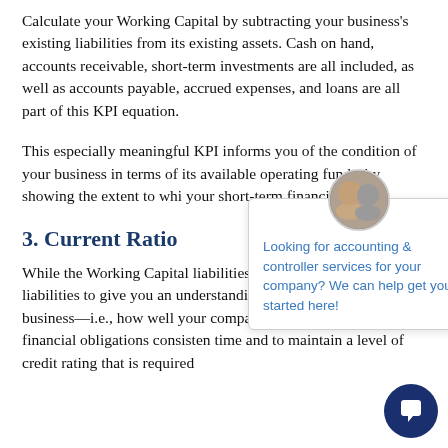Calculate your Working Capital by subtracting your business's existing liabilities from its existing assets. Cash on hand, accounts receivable, short-term investments are all included, as well as accounts payable, accrued expenses, and loans are all part of this KPI equation.
This especially meaningful KPI informs you of the condition of your business in terms of its available operating funds, by showing the extent to which your short-term financial l…
3. Current Ratio
While the Working Capital liabilities from assets, the assets by liabilities to give you an understanding the solvency of your business—i.e., how well your company positioned to meet its financial obligations consistently time and to maintain a level of credit rating that is required